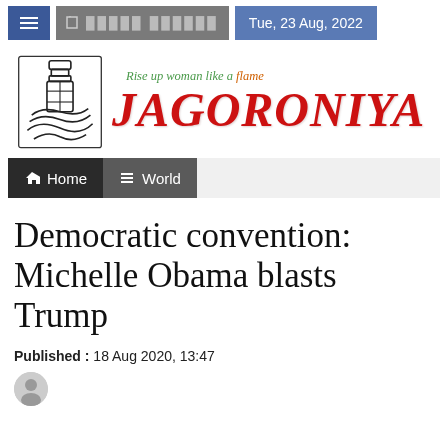Tue, 23 Aug, 2022
[Figure (logo): Jagoroniya newspaper logo with decorative illustration and tagline 'Rise up woman like a flame']
Home  World
Democratic convention: Michelle Obama blasts Trump
Published : 18 Aug 2020, 13:47
Jagoroniya Desk